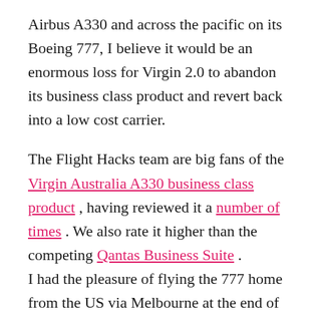Airbus A330 and across the pacific on its Boeing 777, I believe it would be an enormous loss for Virgin 2.0 to abandon its business class product and revert back into a low cost carrier.
The Flight Hacks team are big fans of the Virgin Australia A330 business class product , having reviewed it a number of times . We also rate it higher than the competing Qantas Business Suite . I had the pleasure of flying the 777 home from the US via Melbourne at the end of November and wanted to share why I hope it